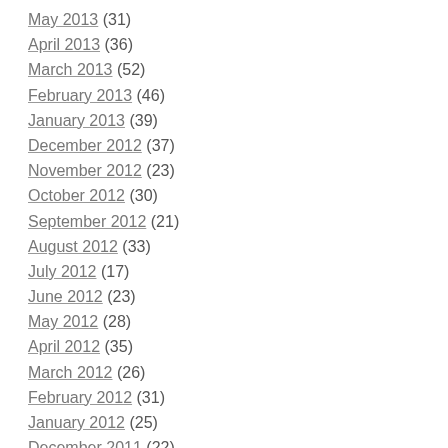May 2013 (31)
April 2013 (36)
March 2013 (52)
February 2013 (46)
January 2013 (39)
December 2012 (37)
November 2012 (23)
October 2012 (30)
September 2012 (21)
August 2012 (33)
July 2012 (17)
June 2012 (23)
May 2012 (28)
April 2012 (35)
March 2012 (26)
February 2012 (31)
January 2012 (25)
December 2011 (22)
November 2011 (17)